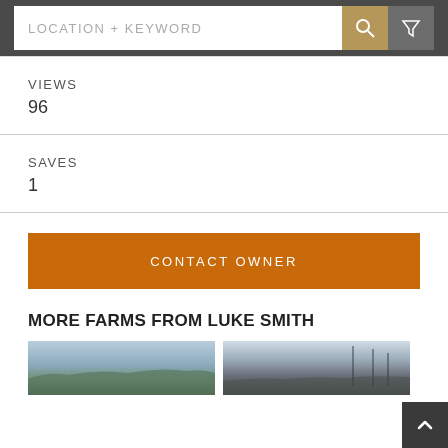LOCATION + KEYWORD
VIEWS
96
SAVES
1
CONTACT OWNER
MORE FARMS FROM LUKE SMITH
[Figure (photo): Landscape photo of rolling hills and mountains]
[Figure (photo): Landscape photo with trees and sky]